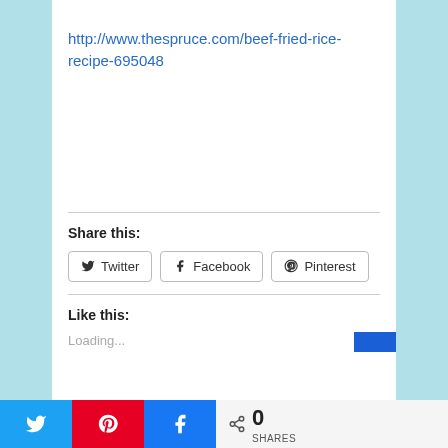http://www.thespruce.com/beef-fried-rice-recipe-695048
Share this:
[Figure (other): Social share buttons for Twitter, Facebook, and Pinterest]
Like this:
Loading...
[Figure (other): Bottom social share bar with Twitter, Pinterest, Facebook icons and share count of 0 SHARES]